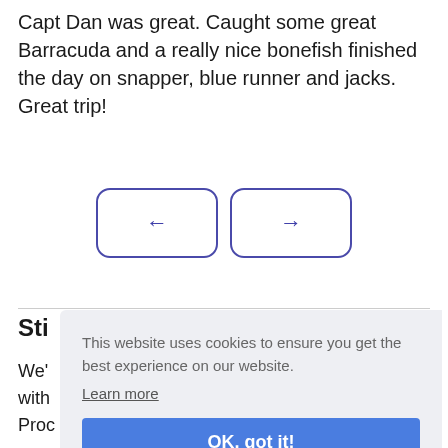Capt Dan was great. Caught some great Barracuda and a really nice bonefish finished the day on snapper, blue runner and jacks. Great trip!
[Figure (other): Navigation buttons: left arrow and right arrow, styled with rounded rectangle borders in blue/purple]
Sti
We' with Proc
[Figure (other): Cookie consent overlay with text: 'This website uses cookies to ensure you get the best experience on our website. Learn more' and an 'OK, got it!' button, plus an accessibility icon button]